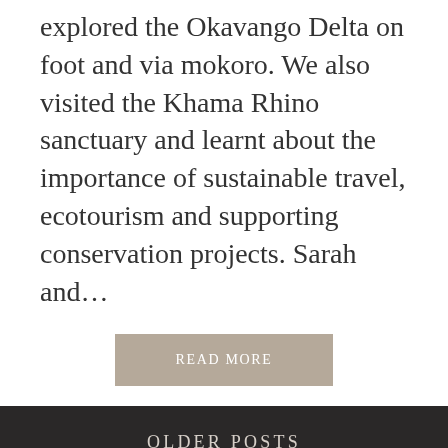explored the Okavango Delta on foot and via mokoro. We also visited the Khama Rhino sanctuary and learnt about the importance of sustainable travel, ecotourism and supporting conservation projects. Sarah and...
READ MORE
OLDER POSTS
Privacy & Cookies: This site uses cookies. By continuing to use this website, you agree to their use.
To find out more, including how to control cookies, see here: Cookie Policy
Close and accept